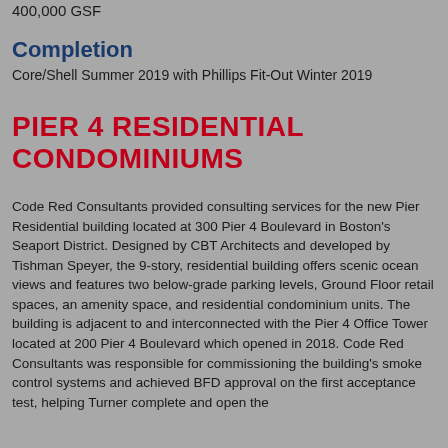400,000 GSF
Completion
Core/Shell Summer 2019 with Phillips Fit-Out Winter 2019
PIER 4 RESIDENTIAL CONDOMINIUMS
Code Red Consultants provided consulting services for the new Pier Residential building located at 300 Pier 4 Boulevard in Boston's Seaport District. Designed by CBT Architects and developed by Tishman Speyer, the 9-story, residential building offers scenic ocean views and features two below-grade parking levels, Ground Floor retail spaces, an amenity space, and residential condominium units. The building is adjacent to and interconnected with the Pier 4 Office Tower located at 200 Pier 4 Boulevard which opened in 2018. Code Red Consultants was responsible for commissioning the building's smoke control systems and achieved BFD approval on the first acceptance test, helping Turner complete and open the